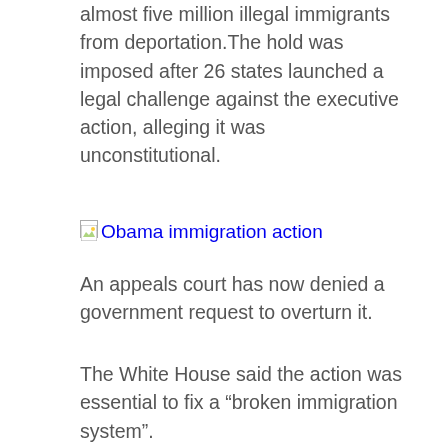almost five million illegal immigrants from deportation.The hold was imposed after 26 states launched a legal challenge against the executive action, alleging it was unconstitutional.
[Figure (photo): Obama immigration action — broken image placeholder with alt text]
An appeals court has now denied a government request to overturn it.
The White House said the action was essential to fix a "broken immigration system".